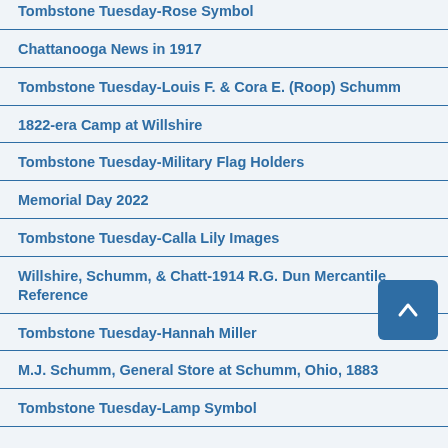Tombstone Tuesday-Rose Symbol
Chattanooga News in 1917
Tombstone Tuesday-Louis F. & Cora E. (Roop) Schumm
1822-era Camp at Willshire
Tombstone Tuesday-Military Flag Holders
Memorial Day 2022
Tombstone Tuesday-Calla Lily Images
Willshire, Schumm, & Chatt-1914 R.G. Dun Mercantile Reference
Tombstone Tuesday-Hannah Miller
M.J. Schumm, General Store at Schumm, Ohio, 1883
Tombstone Tuesday-Lamp Symbol